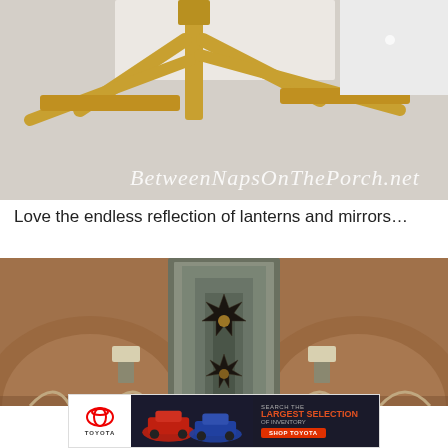[Figure (photo): Close-up photo of a gold metallic chandelier or light fixture against a white ceiling, with the watermark text 'BetweenNapsOnThePorch.net' overlaid in white italic script]
Love the endless reflection of lanterns and mirrors…
[Figure (photo): Interior hallway with arched Moroccan-style doorways in terracotta/brown walls, featuring a star-shaped Moravian pendant lantern reflected in mirrors creating an endless corridor effect, with wall sconces on the sides]
[Figure (photo): Toyota advertisement banner: Toyota logo on left, cars in center on dark background, text on right reading 'SEARCH THE LARGEST SELECTION OF INVENTORY' with a red 'SHOP TOYOTA' button]